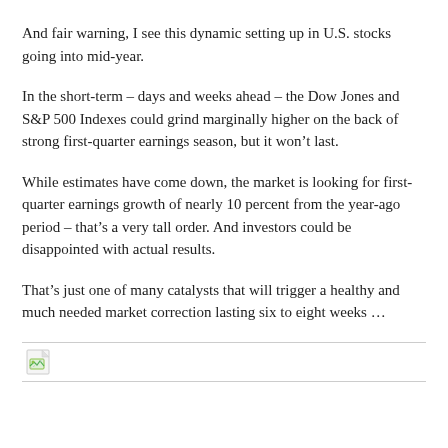And fair warning, I see this dynamic setting up in U.S. stocks going into mid-year.
In the short-term – days and weeks ahead – the Dow Jones and S&P 500 Indexes could grind marginally higher on the back of strong first-quarter earnings season, but it won't last.
While estimates have come down, the market is looking for first-quarter earnings growth of nearly 10 percent from the year-ago period – that's a very tall order. And investors could be disappointed with actual results.
That's just one of many catalysts that will trigger a healthy and much needed market correction lasting six to eight weeks …
[Figure (other): Broken image placeholder with icon and horizontal rules]